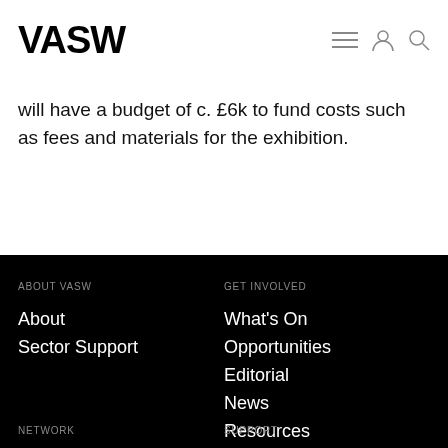VASW
will have a budget of c. £6k to fund costs such as fees and materials for the exhibition.
ABOUT VASW | About | Sector Support | GET INVOLVED | What's On | Opportunities | Editorial | News | Resources | NETWORK | SUPPORT